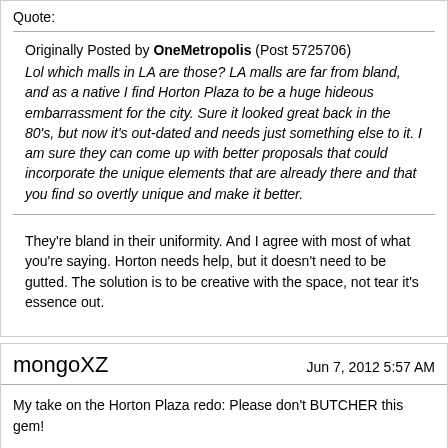Quote:
Originally Posted by OneMetropolis (Post 5725706)
Lol which malls in LA are those? LA malls are far from bland, and as a native I find Horton Plaza to be a huge hideous embarrassment for the city. Sure it looked great back in the 80's, but now it's out-dated and needs just something else to it. I am sure they can come up with better proposals that could incorporate the unique elements that are already there and that you find so overtly unique and make it better.
They're bland in their uniformity. And I agree with most of what you're saying. Horton needs help, but it doesn't need to be gutted. The solution is to be creative with the space, not tear it's essence out.
mongoXZ
Jun 7, 2012 5:57 AM
My take on the Horton Plaza redo: Please don't BUTCHER this gem!
Right now I personally think the color schemes and some of its architectural elements are tacky. But guess what? People thought similar of California Craftsman, googie style, mission revival etc etc. Now we all regret razing some of our most historic buildings in the name of modernizing towards 60's space age brutalism, which is what that video is pretty much proposing.